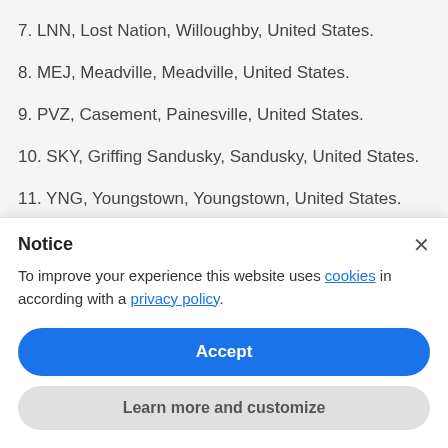7. LNN, Lost Nation, Willoughby, United States.
8. MEJ, Meadville, Meadville, United States.
9. PVZ, Casement, Painesville, United States.
10. SKY, Griffing Sandusky, Sandusky, United States.
11. YNG, Youngstown, Youngstown, United States.
Notice
To improve your experience this website uses cookies in according with a privacy policy.
Accept
Learn more and customize